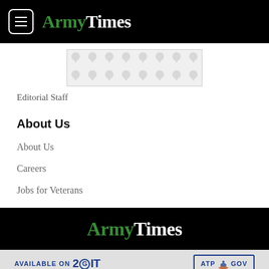ArmyTimes
[Figure (other): Decorative ad banner placeholder with repeating teardrop/location-pin pattern on light gray background]
Editorial Staff
About Us
About Us
Careers
Jobs for Veterans
ArmyTimes
[Figure (other): Bottom advertisement strip: AVAILABLE ON 2GIT logo and ATP GOV logo]